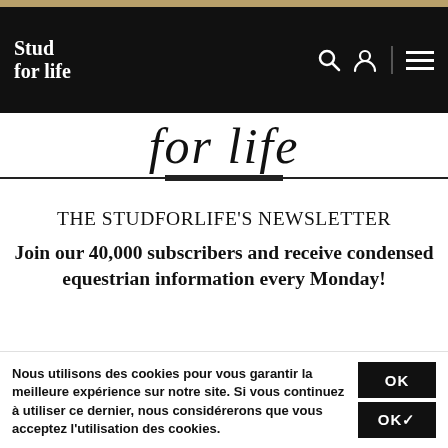Stud for life
for life
THE STUDFORLIFE'S NEWSLETTER
Join our 40,000 subscribers and receive condensed equestrian information every Monday!
Your e-mail
OK
Nous utilisons des cookies pour vous garantir la meilleure expérience sur notre site. Si vous continuez à utiliser ce dernier, nous considérerons que vous acceptez l'utilisation des cookies.
OK✓